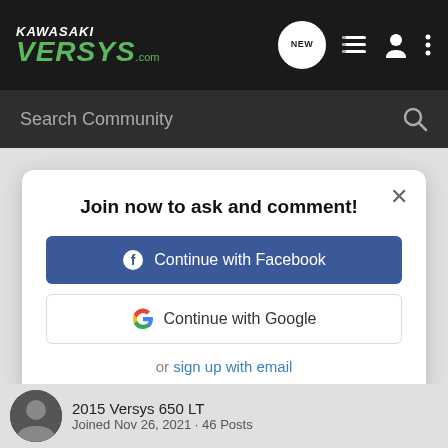KawasakiVersys.com
Search Community
Join now to ask and comment!
Continue with Facebook
Continue with Google
or sign up with email
2015 Versys 650 LT
Joined Nov 26, 2021 · 46 Posts
#5   May 9, 2022